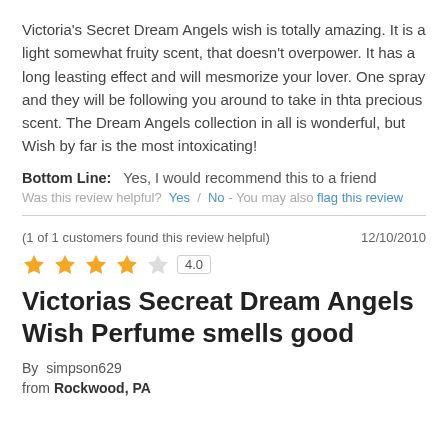Victoria's Secret Dream Angels wish is totally amazing. It is a light somewhat fruity scent, that doesn't overpower. It has a long leasting effect and will mesmorize your lover. One spray and they will be following you around to take in thta precious scent. The Dream Angels collection in all is wonderful, but Wish by far is the most intoxicating!
Bottom Line:   Yes, I would recommend this to a friend
Was this review helpful?  Yes  /  No - You may also flag this review
(1 of 1 customers found this review helpful)
12/10/2010
[Figure (other): 4 filled orange stars and 1 empty star rating with score box showing 4.0]
Victorias Secreat Dream Angels Wish Perfume smells good
By  simpson629
from Rockwood, PA